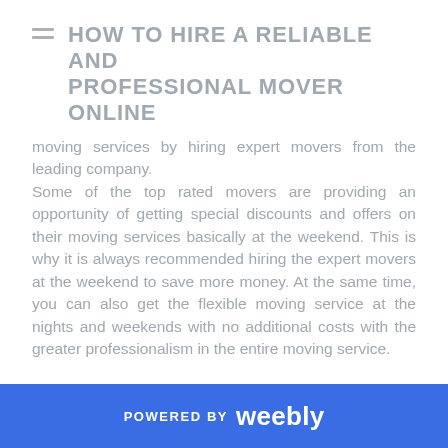HOW TO HIRE A RELIABLE AND PROFESSIONAL MOVER ONLINE
moving services by hiring expert movers from the leading company. Some of the top rated movers are providing an opportunity of getting special discounts and offers on their moving services basically at the weekend. This is why it is always recommended hiring the expert movers at the weekend to save more money. At the same time, you can also get the flexible moving service at the nights and weekends with no additional costs with the greater professionalism in the entire moving service.
POWERED BY weebly